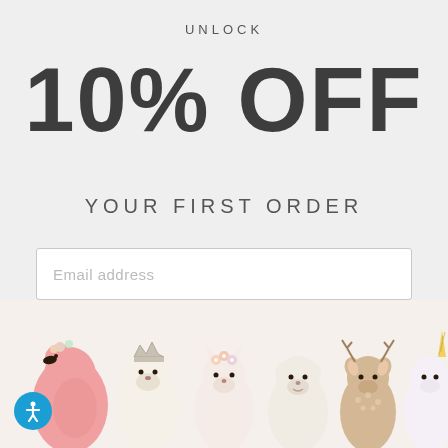UNLOCK
10% OFF
YOUR FIRST ORDER
Email address
CONTINUE
[Figure (illustration): Row of six knitted stuffed animal toys including a flamingo, bear with crown, cat with flowers, light bear, deer, and unicorn against a light background]